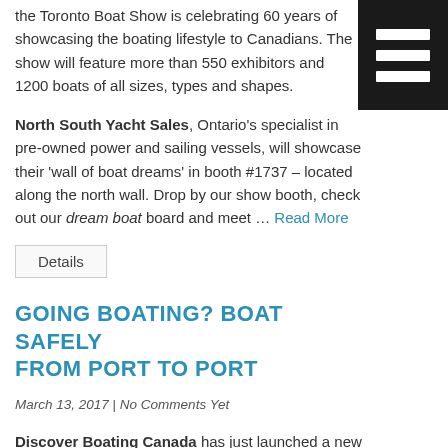the Toronto Boat Show is celebrating 60 years of showcasing the boating lifestyle to Canadians. The show will feature more than 550 exhibitors and 1200 boats of all sizes, types and shapes.
[Figure (other): Black square menu/hamburger icon with three white horizontal bars]
North South Yacht Sales, Ontario's specialist in pre-owned power and sailing vessels, will showcase their 'wall of boat dreams' in booth #1737 – located along the north wall. Drop by our show booth, check out our dream boat board and meet … Read More
Details
GOING BOATING? BOAT SAFELY FROM PORT TO PORT
March 13, 2017  |  No Comments Yet
Discover Boating Canada has just launched a new safety app that is quickly becoming the 'must have' for Canadian boaters. It is designed to keep boaters, their friends and family safe while out on the water.
Regularly updated by recreation marine industry